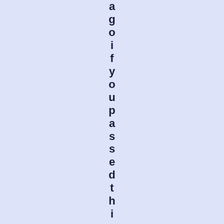ago if you passed this you would puta